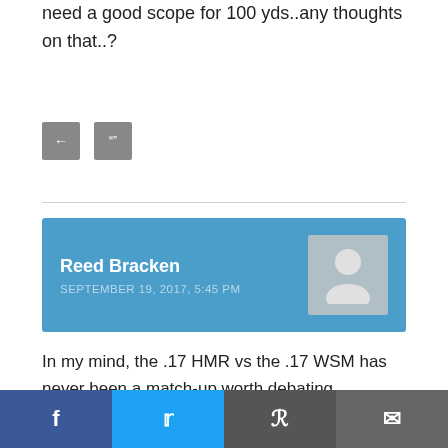need a good scope for 100 yds..any thoughts on that..?
[Figure (other): Two small grey icon buttons (reply and quote icons)]
Reed Bracken
SEPTEMBER 19, 2017, 5:45 PM
In my mind, the .17 HMR vs the .17 WSM has never been a match-up worth debating. Choosing between .17 HMR vs a .22 Mag would be a lively debate – probably with no clear winner. However, I have always wondered why someone would choose a .17WSM and not just go ahead and step oes a rim fire really give t would a .17WSM give
[Figure (other): Social share bar with Facebook, Twitter, Reddit, and Email buttons]